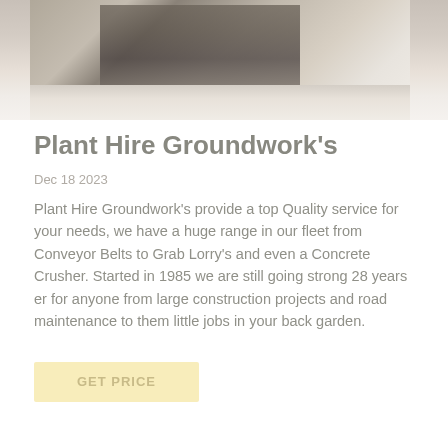[Figure (photo): Construction/plant hire equipment photo showing heavy machinery on a light-colored floor, faded and washed out appearance]
Plant Hire Groundwork's
Dec 18 2023
Plant Hire Groundwork's provide a top Quality service for your needs, we have a huge range in our fleet from Conveyor Belts to Grab Lorry's and even a Concrete Crusher. Started in 1985 we are still going strong 28 years er for anyone from large construction projects and road maintenance to them little jobs in your back garden.
GET PRICE